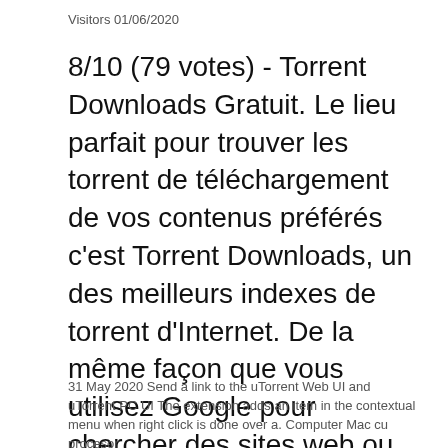Visitors 01/06/2020
8/10 (79 votes) - Torrent Downloads Gratuit. Le lieu parfait pour trouver les torrent de téléchargement de vos contenus préférés c'est Torrent Downloads, un des meilleurs indexes de torrent d'Internet. De la même façon que vous utilisez Google pour chercher des sites web ou de documents, il vous
31 May 2020 Send a link to the uTorrent Web UI and uTorrent PC UI The extension adds an item in the contextual menu when right click is done over a. Computer Mac cu procesor